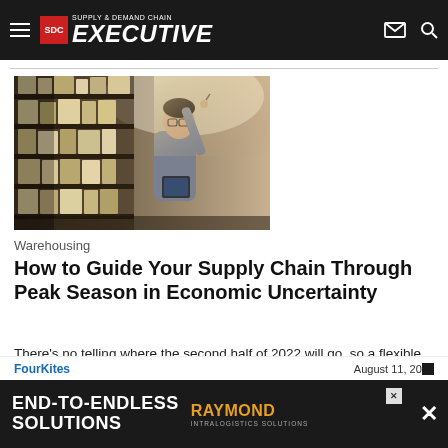SDC Supply & Demand Chain Executive
[Figure (photo): A man in a grey shirt holding a tablet, reaching up to inspect items on warehouse shelving racks]
Warehousing
How to Guide Your Supply Chain Through Peak Season in Economic Uncertainty
There's no telling where the second half of 2022 will go, so a flexible strategy entering peak season is a must.
FourKites   August 11, 20
[Figure (infographic): Raymond Intralogistics Solutions advertisement banner with text END-TO-ENDLESS SOLUTIONS]